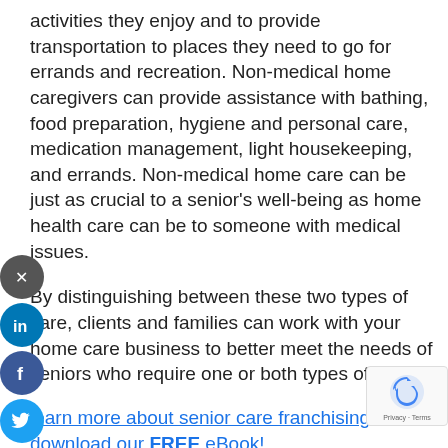activities they enjoy and to provide transportation to places they need to go for errands and recreation. Non-medical home caregivers can provide assistance with bathing, food preparation, hygiene and personal care, medication management, light housekeeping, and errands. Non-medical home care can be just as crucial to a senior's well-being as home health care can be to someone with medical issues.
By distinguishing between these two types of care, clients and families can work with your home care business to better meet the needs of seniors who require one or both types of care.
Learn more about senior care franchising w... download our FREE eBook!
[Figure (other): Social media share buttons on the left side: close (X), LinkedIn, Facebook, Twitter icons as circular buttons]
[Figure (other): Google reCAPTCHA badge in bottom right corner showing reCAPTCHA logo with Privacy and Terms links]